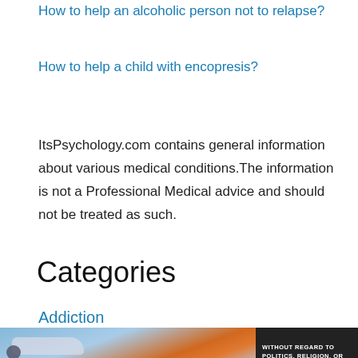How to help an alcoholic person not to relapse?
How to help a child with encopresis?
ItsPsychology.com contains general information about various medical conditions.The information is not a Professional Medical advice and should not be treated as such.
Categories
Addiction
[Figure (photo): Advertisement image showing an airplane being loaded with cargo, with a dark banner on the right reading WITHOUT REGARD TO POLITICS, RELIGION, OR ABILITY TO PAY]